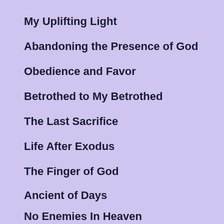My Uplifting Light
Abandoning the Presence of God
Obedience and Favor
Betrothed to My Betrothed
The Last Sacrifice
Life After Exodus
The Finger of God
Ancient of Days
No Enemies In Heaven